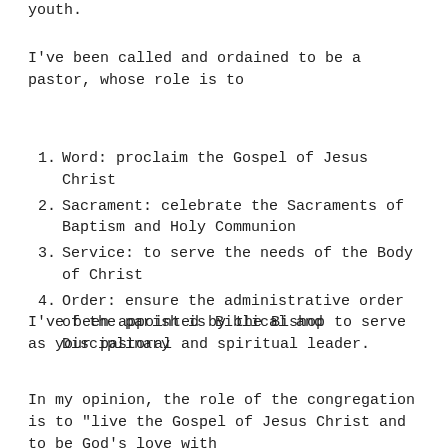youth.
I've been called and ordained to be a pastor, whose role is to
Word: proclaim the Gospel of Jesus Christ
Sacrament: celebrate the Sacraments of Baptism and Holy Communion
Service: to serve the needs of the Body of Christ
Order: ensure the administrative order of the parish is Biblical and Disciplinary
I've been appointed by the Bishop to serve as your pastoral and spiritual leader.
In my opinion, the role of the congregation is to "live the Gospel of Jesus Christ and to be God's love with